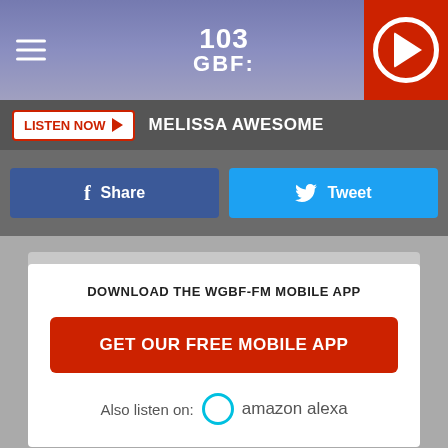103 GBF
LISTEN NOW  MELISSA AWESOME
Share
Tweet
DOWNLOAD THE WGBF-FM MOBILE APP
GET OUR FREE MOBILE APP
Also listen on:  amazon alexa